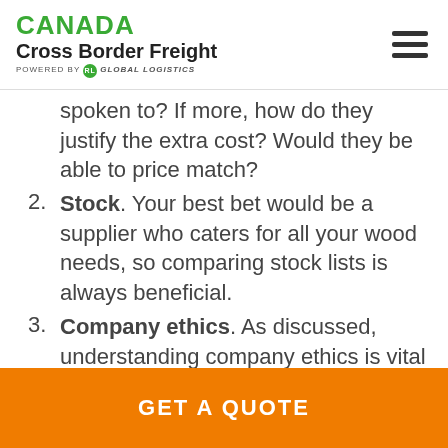CANADA Cross Border Freight POWERED BY RL GLOBAL LOGISTICS
spoken to? If more, how do they justify the extra cost? Would they be able to price match?
2. Stock. Your best bet would be a supplier who caters for all your wood needs, so comparing stock lists is always beneficial.
3. Company ethics. As discussed, understanding company ethics is vital to businesses with
GET A QUOTE